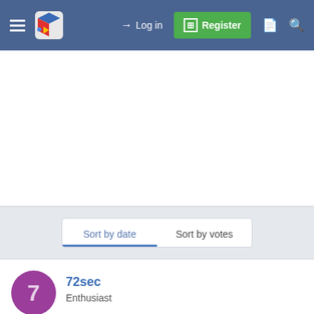Log in | Register
[Figure (screenshot): White advertisement/content area]
Sort by date | Sort by votes
72sec
Enthusiast
Oct 27, 2021
#2